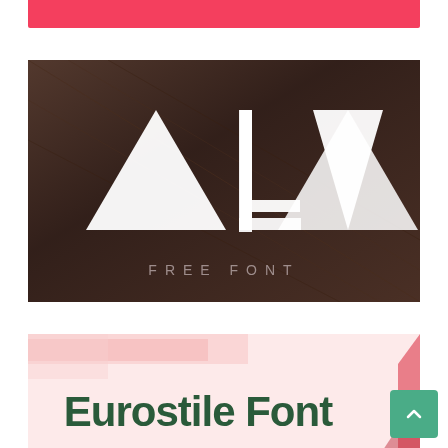[Figure (illustration): Red banner/bar at top of page (partially visible, cropped)]
Fortika Display Typeface Free Download
[Figure (photo): ALVA free font promotional image showing geometric white letterforms A, L, V, A made of triangles and rectangles on a dark metallic background with text FREE FONT below]
ALVA Font Free Download
[Figure (illustration): Eurostile Font promotional image showing the text Eurostile Font in bold dark green lettering on a light pink background with decorative red elements]
Eurostile Font